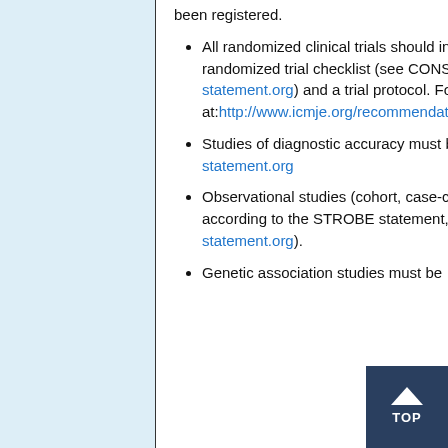been registered.
All randomized clinical trials should include a flow diagram and authors should provide a completed randomized trial checklist (see CONSORT Flow Diagram and Checklist; www.consort-statement.org) and a trial protocol. For further details, please visit complete guidelines at: http://www.icmje.org/recommendations/and-editorial-issues/clinical-trial-registration.html
Studies of diagnostic accuracy must be reported according to STARD guidelines; www.stard-statement.org
Observational studies (cohort, case-control, or cross-sectional designs) must be reported according to the STROBE statement, and should be submitted with their protocols; (www.strobe-statement.org).
Genetic association studies must be